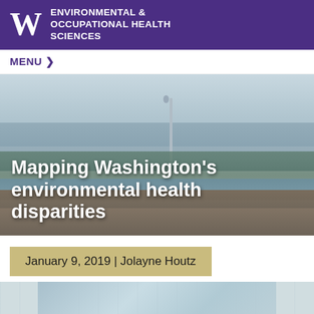ENVIRONMENTAL & OCCUPATIONAL HEALTH SCIENCES
MENU
[Figure (photo): Aerial view of Seattle cityscape with Space Needle visible, overlooking Lake Union and surrounding urban neighborhoods]
Mapping Washington's environmental health disparities
January 9, 2019 | Jolayne Houtz
[Figure (screenshot): Partial view of a map or web page content at the bottom of the page]